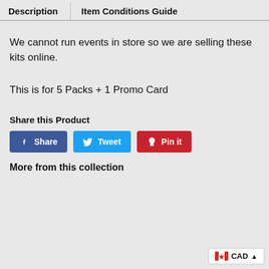Description | Item Conditions Guide
We cannot run events in store so we are selling these kits online.
This is for 5 Packs + 1 Promo Card
Share this Product
Share
Tweet
Pin it
More from this collection